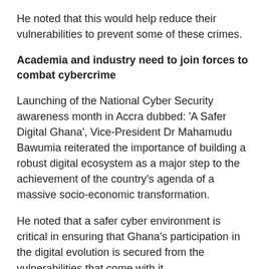He noted that this would help reduce their vulnerabilities to prevent some of these crimes.
Academia and industry need to join forces to combat cybercrime
Launching of the National Cyber Security awareness month in Accra dubbed: ‘A Safer Digital Ghana’, Vice-President Dr Mahamudu Bawumia reiterated the importance of building a robust digital ecosystem as a major step to the achievement of the country’s agenda of a massive socio-economic transformation.
He noted that a safer cyber environment is critical in ensuring that Ghana’s participation in the digital evolution is secured from the vulnerabilities that come with it.
The Vice-President noted that Ghana being a part of the increasingly digital world, where daily connectivity has almost become an essential commodity, it was imperative to ensure a safer cyber ecosystem where vulnerabilities are reduced to the barest minimum.
“As we become more and closely connected to each, together we